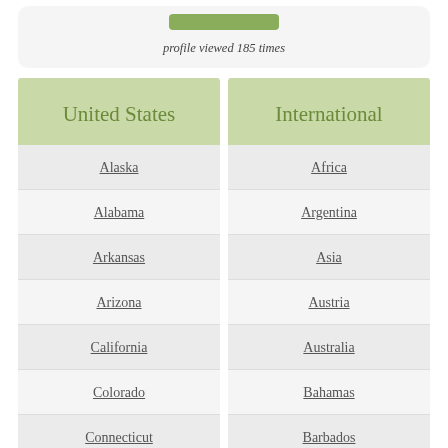profile viewed 185 times
| United States | International |
| --- | --- |
| Alaska | Africa |
| Alabama | Argentina |
| Arkansas | Asia |
| Arizona | Austria |
| California | Australia |
| Colorado | Bahamas |
| Connecticut | Barbados |